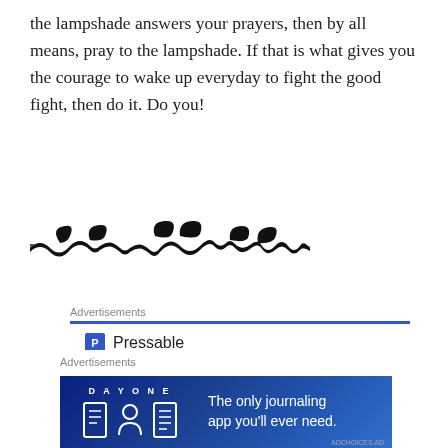the lampshade answers your prayers, then by all means, pray to the lampshade. If that is what gives you the courage to wake up everyday to fight the good fight, then do it. Do you!
[Figure (illustration): Decorative ornamental divider — a curling, scroll-like black flourish design used as a section separator]
Advertisements
[Figure (logo): Pressable logo: blue square with white P icon followed by the word Pressable]
. . . . . . . . .
The Platform Where WordPress Works Best
Advertisements
[Figure (infographic): Day One journaling app advertisement: dark blue background, DAY ONE text logo, three icons (journal, person, list), tagline: The only journaling app you'll ever need.]